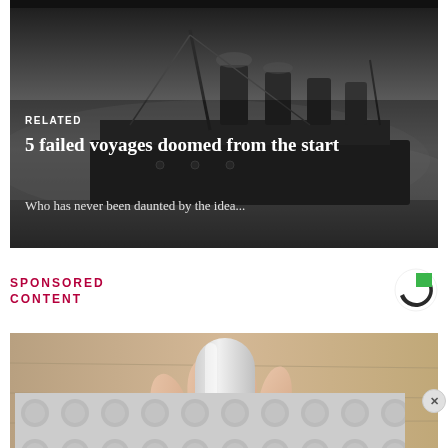[Figure (photo): Black and white photograph of a large ocean liner/ship at dock, misty/foggy atmosphere]
RELATED
5 failed voyages doomed from the start
Who has never been daunted by the idea...
SPONSORED CONTENT
[Figure (logo): Circular logo with green and dark segments — Taboola or similar content recommendation logo]
[Figure (photo): Photo of a hand holding a white cylindrical device/bottle — product advertisement image]
[Figure (other): Grey decorative banner advertisement at bottom of page with circular pattern]